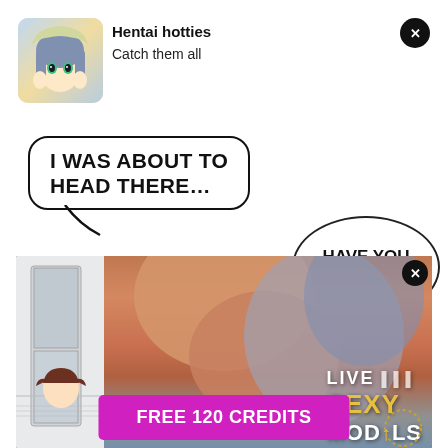[Figure (illustration): Anime character avatar thumbnail - blue haired girl in hoodie]
Hentai hotties
Catch them all
I WAS ABOUT TO HEAD THERE…
HAVE YOU EATEN YET ?
[Figure (photo): Adult advertising photo with LIVE SEXY MODELS text overlay]
FREE 120 CREDITS